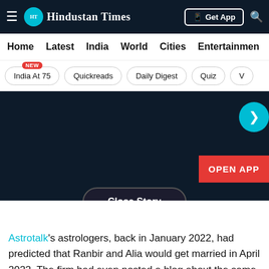Hindustan Times
Home | Latest | India | World | Cities | Entertainment
India At 75 (NEW) | Quickreads | Daily Digest | Quiz | V
[Figure (screenshot): Dark advertisement banner with a teal arrow button and an orange OPEN APP button, plus a Close Story pill button at the bottom]
Astrotalk's astrologers, back in January 2022, had predicted that Ranbir and Alia would get married in April 2022. The firm had even posted a blog about the same on their website.